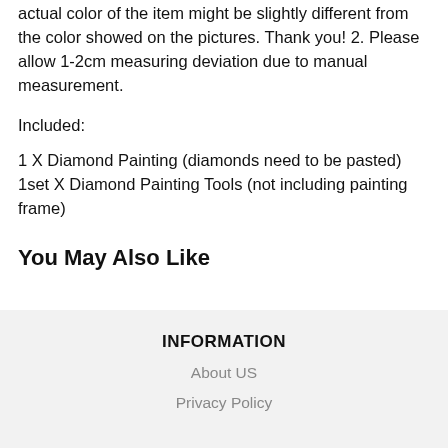actual color of the item might be slightly different from the color showed on the pictures. Thank you! 2. Please allow 1-2cm measuring deviation due to manual measurement.
Included:
1 X Diamond Painting (diamonds need to be pasted)
1set X Diamond Painting Tools (not including painting frame)
You May Also Like
INFORMATION
About US
Privacy Policy